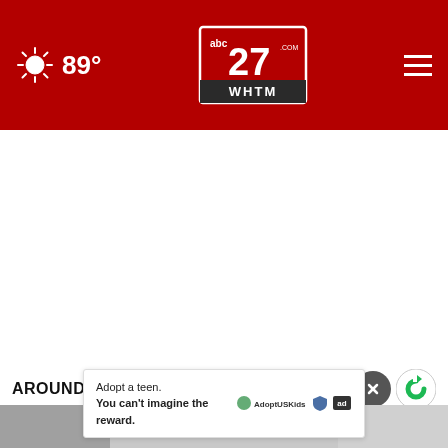ABC 27 WHTM | 89°
AROUND THE WEB
[Figure (screenshot): Bottom partial image strip showing a person, cropped]
Adopt a teen. You can't imagine the reward.